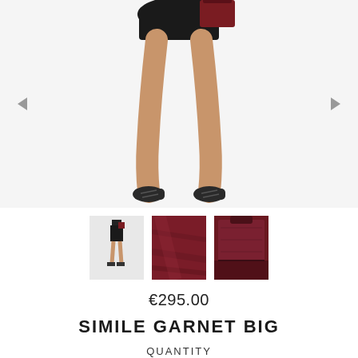[Figure (photo): Fashion product photo showing from waist down: model wearing a short black skirt and dark lace-up flat shoes, holding a dark red/garnet handbag. Navigation arrows visible on left and right sides.]
[Figure (photo): Three product thumbnail images: (1) small full-body shot of model with garnet bag, (2) close-up of garnet-colored fabric/bag material, (3) close-up of garnet bag corner detail.]
€295.00
SIMILE GARNET BIG
QUANTITY